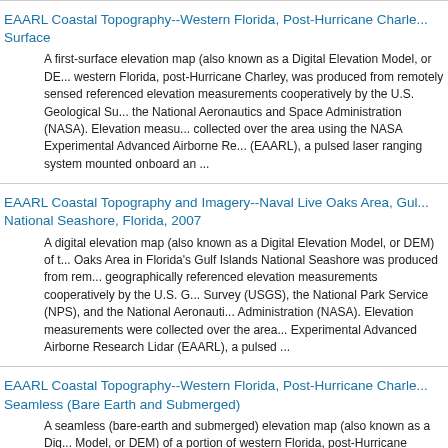EAARL Coastal Topography--Western Florida, Post-Hurricane Charley: First Surface
A first-surface elevation map (also known as a Digital Elevation Model, or DE... western Florida, post-Hurricane Charley, was produced from remotely sensed referenced elevation measurements cooperatively by the U.S. Geological Su... the National Aeronautics and Space Administration (NASA). Elevation measu... collected over the area using the NASA Experimental Advanced Airborne Res... (EAARL), a pulsed laser ranging system mounted onboard an ...
EAARL Coastal Topography and Imagery--Naval Live Oaks Area, Gulf Islands National Seashore, Florida, 2007
A digital elevation map (also known as a Digital Elevation Model, or DEM) of the Naval Live Oaks Area in Florida's Gulf Islands National Seashore was produced from remotely sensed, geographically referenced elevation measurements cooperatively by the U.S. Geological Survey (USGS), the National Park Service (NPS), and the National Aeronautics and Space Administration (NASA). Elevation measurements were collected over the area using the NASA Experimental Advanced Airborne Research Lidar (EAARL), a pulsed ...
EAARL Coastal Topography--Western Florida, Post-Hurricane Charley: Seamless (Bare Earth and Submerged)
A seamless (bare-earth and submerged) elevation map (also known as a Digital Elevation Model, or DEM) of a portion of western Florida, post-Hurricane Charley, was produced from remotely sensed, geographically referenced elevation measurements cooperatively by the U.S. Geological Survey (USGS) and the National Aeronautics and Space Administration (NASA). Elevation measurements were collected over the area using the NASA Exp...